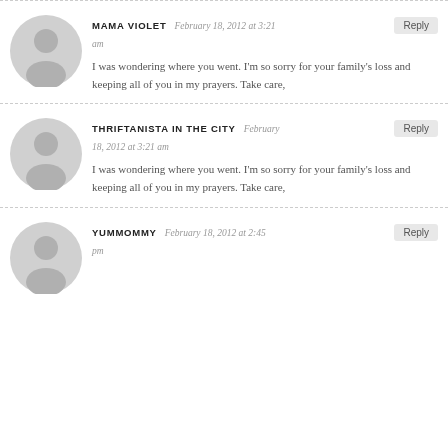MAMA VIOLET — February 18, 2012 at 3:21 am — I was wondering where you went. I'm so sorry for your family's loss and keeping all of you in my prayers. Take care,
THRIFTANISTA IN THE CITY — February 18, 2012 at 3:21 am — I was wondering where you went. I'm so sorry for your family's loss and keeping all of you in my prayers. Take care,
YUMMOMMY — February 18, 2012 at 2:45 pm